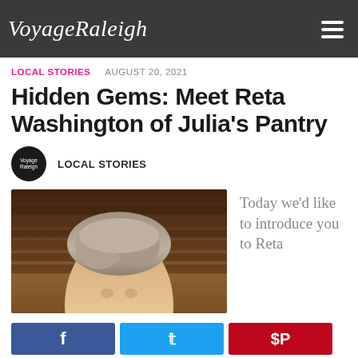VoyageRaleigh
LOCAL STORIES   AUGUST 20, 2021
Hidden Gems: Meet Reta Washington of Julia's Pantry
LOCAL STORIES
[Figure (photo): Portrait photo of Reta Washington with short gray-brown hair against a wooden background]
Today we'd like to introduce you to Reta